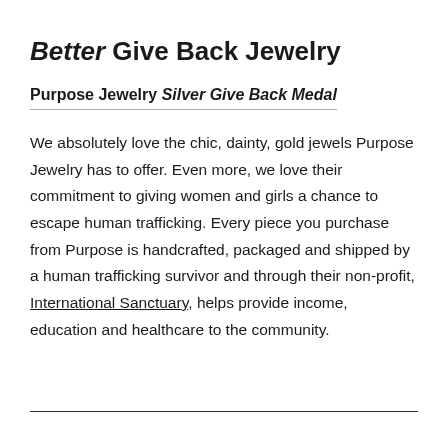Better Give Back Jewelry
Purpose Jewelry Silver Give Back Medal
We absolutely love the chic, dainty, gold jewels Purpose Jewelry has to offer. Even more, we love their commitment to giving women and girls a chance to escape human trafficking. Every piece you purchase from Purpose is handcrafted, packaged and shipped by a human trafficking survivor and through their non-profit, International Sanctuary, helps provide income, education and healthcare to the community.